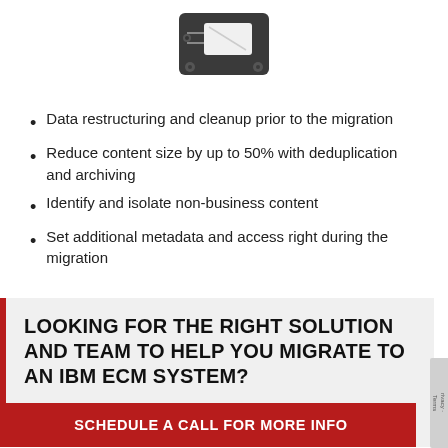[Figure (illustration): Hard drive / disk icon in dark gray with a white label element, rendered as a simple flat icon]
Data restructuring and cleanup prior to the migration
Reduce content size by up to 50% with deduplication and archiving
Identify and isolate non-business content
Set additional metadata and access right during the migration
LOOKING FOR THE RIGHT SOLUTION AND TEAM TO HELP YOU MIGRATE TO AN IBM ECM SYSTEM?
SCHEDULE A CALL FOR MORE INFO